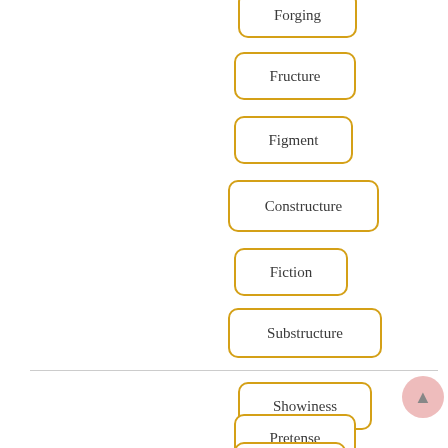[Figure (other): A vertical list of rounded-rectangle label boxes with orange/gold borders, each containing a word: Forging, Fructure, Figment, Constructure, Fiction, Substructure (above a horizontal divider), then Showiness, Pretense, Parade (below the divider). A small pink navigation circle appears at bottom right.]